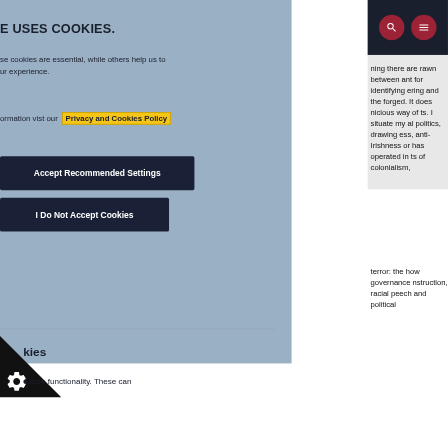E USES COOKIES.
se cookies are essential, while others help us to ur experience.
ormation vist our Privacy and Cookies Policy
Accept Recommended Settings
I Do Not Accept Cookies
kies
e core functionality. These can
ning there are rawn between ant for identifying ering and the forged. It does nicious way of ts. I situate my al politics, drawing ess, anti-Irishness or has operated in ts of colonialism,
terror: the how governance nstruction, racial peech and political